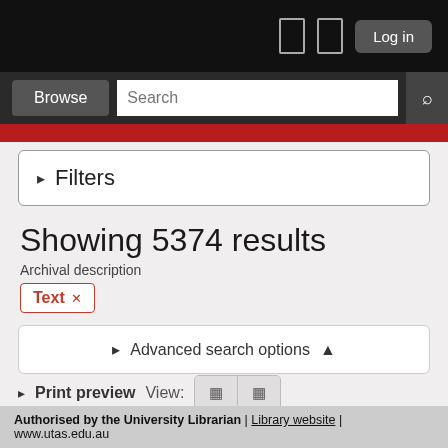[Figure (screenshot): University library catalogue website header with black navigation bar containing Log in button, Browse button, Search field, and red accent stripe]
Filters
Showing 5374 results
Archival description
Text ×
Advanced search options
Print preview  View:
Sort by: Identifier  Direction: Descending
Authorised by the University Librarian | Library website | www.utas.edu.au